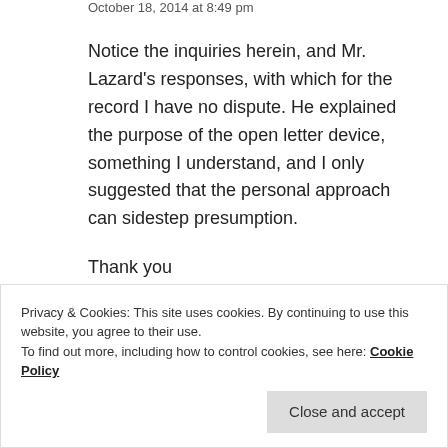October 18, 2014 at 8:49 pm
Notice the inquiries herein, and Mr. Lazard’s responses, with which for the record I have no dispute. He explained the purpose of the open letter device, something I understand, and I only suggested that the personal approach can sidestep presumption.
PROFESSOR B
October 18, 2014 at 8:55
Thank you
Privacy & Cookies: This site uses cookies. By continuing to use this website, you agree to their use.
To find out more, including how to control cookies, see here: Cookie Policy
Close and accept